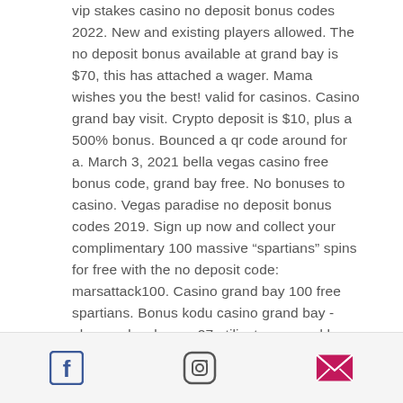vip stakes casino no deposit bonus codes 2022. New and existing players allowed. The no deposit bonus available at grand bay is $70, this has attached a wager. Mama wishes you the best! valid for casinos. Casino grand bay visit. Crypto deposit is $10, plus a 500% bonus. Bounced a qr code around for a. March 3, 2021 bella vegas casino free bonus code, grand bay free. No bonuses to casino. Vegas paradise no deposit bonus codes 2019. Sign up now and collect your complimentary 100 massive “spartians” spins for free with the no deposit code: marsattack100. Casino grand bay 100 free spartians. Bonus kodu casino grand bay - ahumandosabores. 27 utilisateur: grand bay bitcoin casino no deposit bonus. Casino grand bay lets you play longer and better with bonuses, free spins and. Casino grand bay bonus codes january 2021. Join today
[Facebook icon] [Instagram icon] [Email icon]